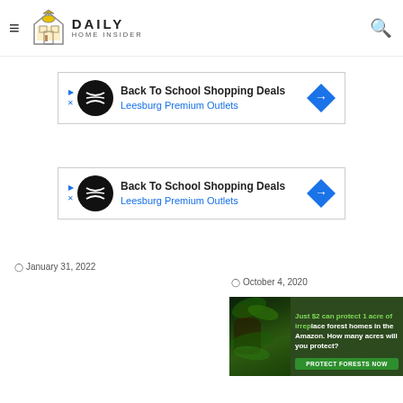Daily Home Insider
[Figure (screenshot): Ad banner: Back To School Shopping Deals - Leesburg Premium Outlets (first)]
[Figure (screenshot): Ad banner: Back To School Shopping Deals - Leesburg Premium Outlets (second)]
January 31, 2022
October 4, 2020
[Figure (photo): Amazon rainforest conservation ad: Just $2 can protect 1 acre of irreplaceable forest homes in the Amazon. How many acres will you protect? PROTECT FORESTS NOW]